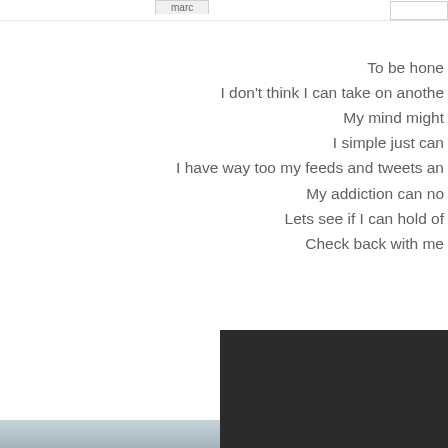[Figure (screenshot): Top UI bar with a tab labeled 'marc' and an input/search box]
To be hone
I don't think I can take on anothe
My mind might
I simple just can
I have way too my feeds and tweets an
My addiction can no
Lets see if I can hold of
Check back with me
[Figure (screenshot): Twitter profile card with dark background showing Cheryl E (@CAE19) with a profile photo of a woman and child, and bio text 'I am a fun loving, full time working...']